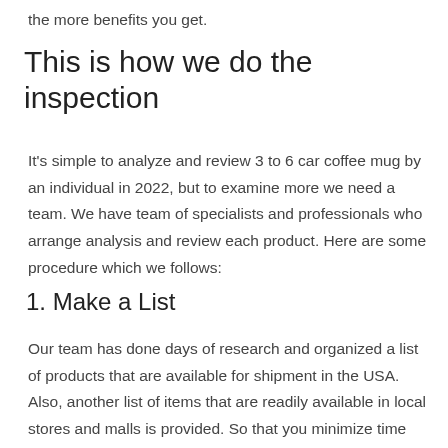the more benefits you get.
This is how we do the inspection
It’s simple to analyze and review 3 to 6 car coffee mug by an individual in 2022, but to examine more we need a team. We have team of specialists and professionals who arrange analysis and review each product. Here are some procedure which we follows:
1. Make a List
Our team has done days of research and organized a list of products that are available for shipment in the USA. Also, another list of items that are readily available in local stores and malls is provided. So that you minimize time when picking and ordering.